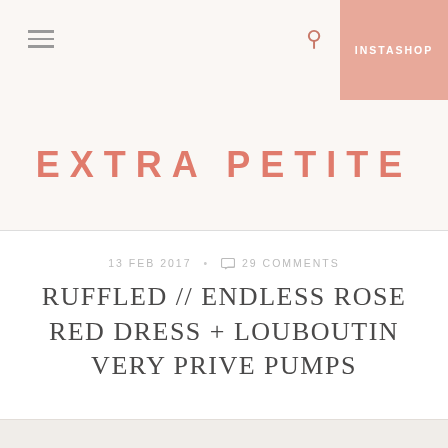INSTASHOP
EXTRA PETITE
13 FEB 2017 • 29 COMMENTS
RUFFLED // ENDLESS ROSE RED DRESS + LOUBOUTIN VERY PRIVE PUMPS